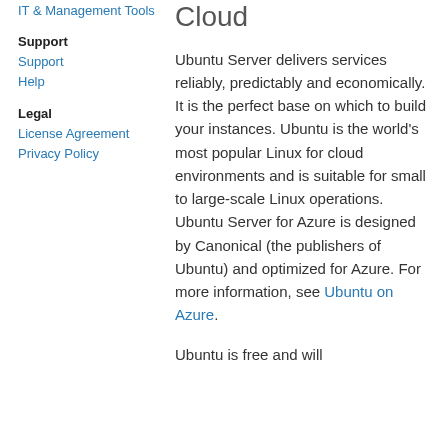IT & Management tools
Support
Support
Help
Legal
License Agreement
Privacy Policy
Cloud
Ubuntu Server delivers services reliably, predictably and economically. It is the perfect base on which to build your instances. Ubuntu is the world's most popular Linux for cloud environments and is suitable for small to large-scale Linux operations. Ubuntu Server for Azure is designed by Canonical (the publishers of Ubuntu) and optimized for Azure. For more information, see Ubuntu on Azure.
Ubuntu is free and will